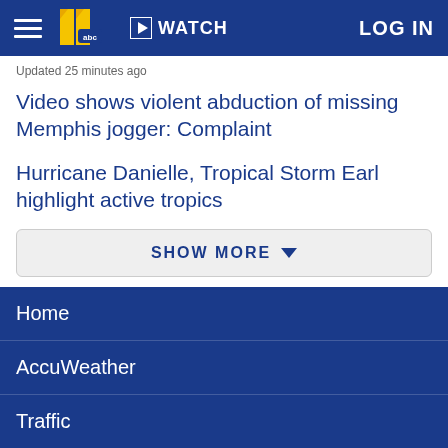WATCH  LOG IN
Updated 25 minutes ago
Video shows violent abduction of missing Memphis jogger: Complaint
Hurricane Danielle, Tropical Storm Earl highlight active tropics
SHOW MORE
Home
AccuWeather
Traffic
Local News
Categories
Station Info
Shows